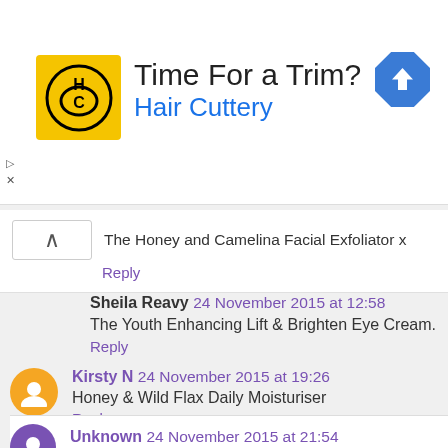[Figure (infographic): Hair Cuttery advertisement banner with logo and text 'Time For a Trim? Hair Cuttery' and a blue navigation arrow icon]
The Honey and Camelina Facial Exfoliator x
Reply
Sheila Reavy 24 November 2015 at 12:58
The Youth Enhancing Lift & Brighten Eye Cream.
Reply
Kirsty N 24 November 2015 at 19:26
Honey & Wild Flax Daily Moisturiser
Reply
Unknown 24 November 2015 at 21:54